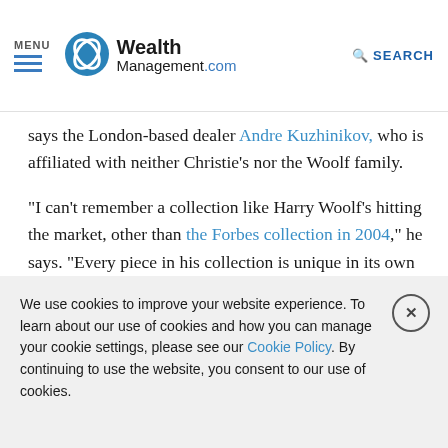MENU | WealthManagement.com | SEARCH
says the London-based dealer Andre Kuzhinikov, who is affiliated with neither Christie's nor the Woolf family.
“I can’t remember a collection like Harry Woolf’s hitting the market, other than the Forbes collection in 2004,” he says. “Every piece in his collection is unique in its own right, and the majority of the items is some really juicy, fabulous thing that stands out.”
Building the Collection
We use cookies to improve your website experience. To learn about our use of cookies and how you can manage your cookie settings, please see our Cookie Policy. By continuing to use the website, you consent to our use of cookies.